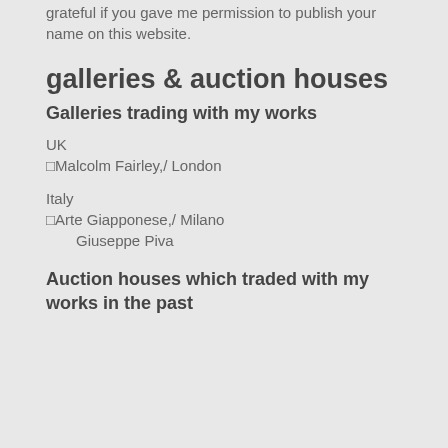grateful if you gave me permission to publish your name on this website.
galleries & auction houses
Galleries trading with my works
UK
⬜Malcolm Fairley,/ London
Italy
⬜Arte Giapponese,/ Milano
Giuseppe Piva
Auction houses which traded with my works in the past